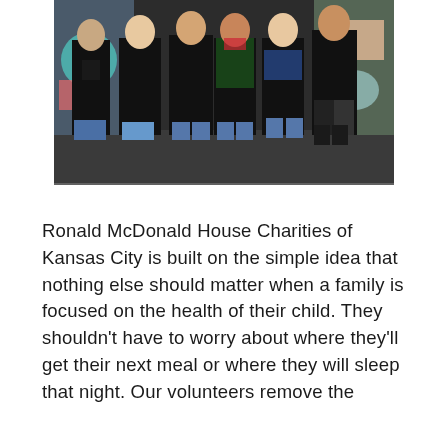[Figure (photo): Group of six people wearing matching black aprons with a logo, standing together indoors in front of colorful artwork on the wall.]
Ronald McDonald House Charities of Kansas City is built on the simple idea that nothing else should matter when a family is focused on the health of their child. They shouldn't have to worry about where they'll get their next meal or where they will sleep that night. Our volunteers remove the